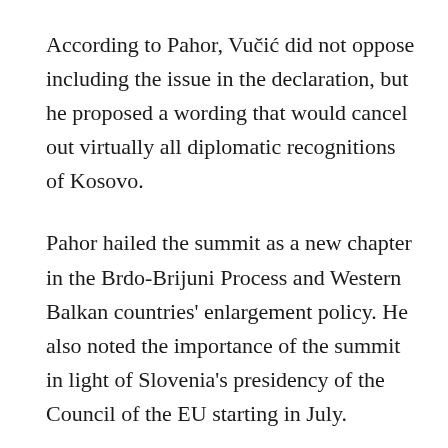According to Pahor, Vučić did not oppose including the issue in the declaration, but he proposed a wording that would cancel out virtually all diplomatic recognitions of Kosovo.
Pahor hailed the summit as a new chapter in the Brdo-Brijuni Process and Western Balkan countries' enlargement policy. He also noted the importance of the summit in light of Slovenia's presidency of the Council of the EU starting in July.
Pahor said there were many differences and divisions heard during the three-hour talks, voices were raised and there was a reconciliation. "In the end we arrived at the messages we feel are very